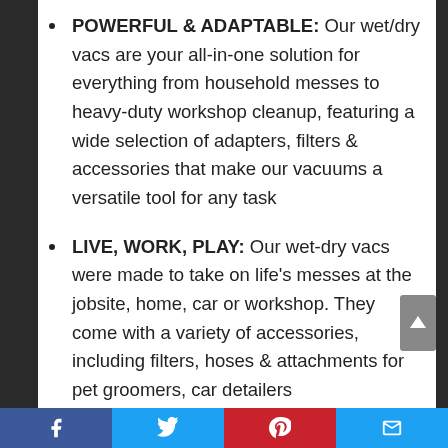POWERFUL & ADAPTABLE: Our wet/dry vacs are your all-in-one solution for everything from household messes to heavy-duty workshop cleanup, featuring a wide selection of adapters, filters & accessories that make our vacuums a versatile tool for any task
LIVE, WORK, PLAY: Our wet-dry vacs were made to take on life’s messes at the jobsite, home, car or workshop. They come with a variety of accessories, including filters, hoses & attachments for pet groomers, car detailers
Facebook | Twitter | Pinterest | Email